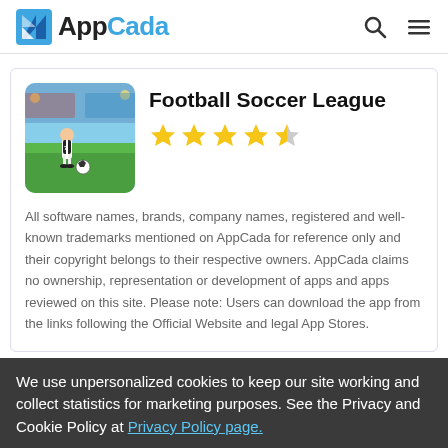AppCada
Football Soccer League
All software names, brands, company names, registered and well-known trademarks mentioned on AppCada for reference only and their copyright belongs to their respective owners. AppCada claims no ownership, representation or development of apps and apps reviewed on this site. Please note: Users can download the app from the links following the Official Website and legal App Stores.
All software names, brands, company names, registered and well-known trademarks mentioned on AppCada for reference
We use unpersonalized cookies to keep our site working and collect statistics for marketing purposes. See the Privacy and Cookie Policy at Privacy Policy page.